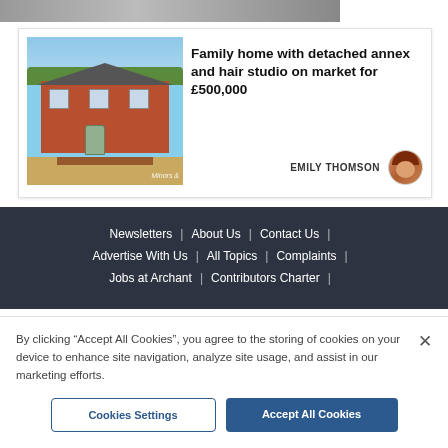[Figure (photo): Partial top image strip showing people, cropped at top of page]
[Figure (photo): Photo of a red brick detached family home with garden gate, Minors & brand watermark]
Family home with detached annex and hair studio on market for £500,000
EMILY THOMSON
Newsletters | About Us | Contact Us | Advertise With Us | All Topics | Complaints | Jobs at Archant | Contributors Charter |
By clicking "Accept All Cookies", you agree to the storing of cookies on your device to enhance site navigation, analyze site usage, and assist in our marketing efforts.
Cookies Settings
Accept All Cookies